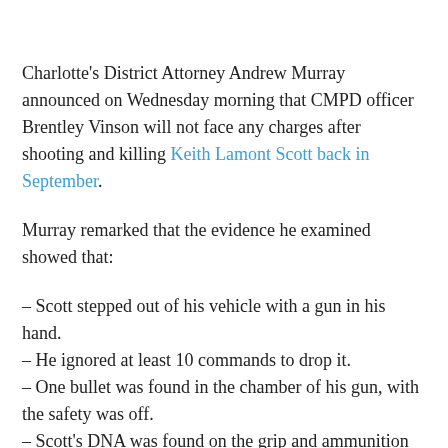Charlotte's District Attorney Andrew Murray announced on Wednesday morning that CMPD officer Brentley Vinson will not face any charges after shooting and killing Keith Lamont Scott back in September.
Murray remarked that the evidence he examined showed that:
– Scott stepped out of his vehicle with a gun in his hand.
– He ignored at least 10 commands to drop it.
– One bullet was found in the chamber of his gun, with the safety was off.
– Scott's DNA was found on the grip and ammunition slide